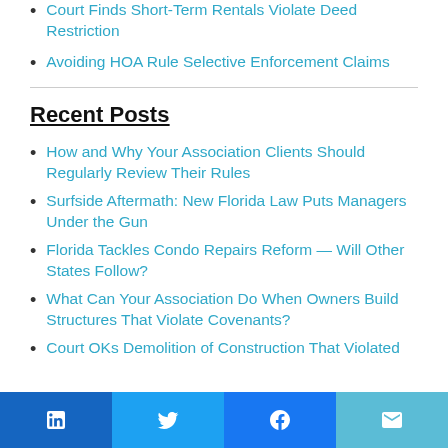Court Finds Short-Term Rentals Violate Deed Restriction
Avoiding HOA Rule Selective Enforcement Claims
Recent Posts
How and Why Your Association Clients Should Regularly Review Their Rules
Surfside Aftermath: New Florida Law Puts Managers Under the Gun
Florida Tackles Condo Repairs Reform — Will Other States Follow?
What Can Your Association Do When Owners Build Structures That Violate Covenants?
Court OKs Demolition of Construction That Violated